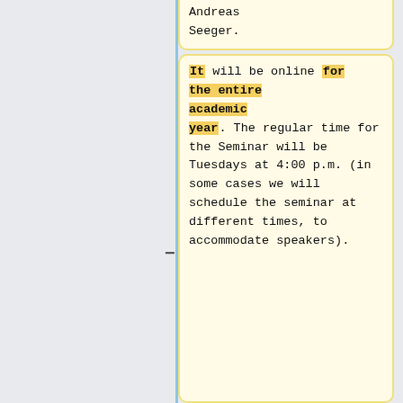Andreas Seeger.
Andreas Seeger.
It will be online for the entire academic year. The regular time for the Seminar will be Tuesdays at 4:00 p.m. (in some cases we will schedule the seminar at different times, to accommodate speakers).
Some of the talks will be in person (room Van Vleck B139) and some will be online. The regular time for the Seminar will be Tuesdays at 4:00 p.m. (in some cases we will schedule the seminar at different